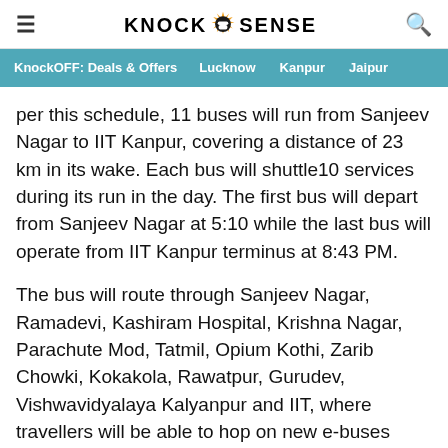KNOCK SENSE
KnockOFF: Deals & Offers   Lucknow   Kanpur   Jaipur
per this schedule, 11 buses will run from Sanjeev Nagar to IIT Kanpur, covering a distance of 23 km in its wake. Each bus will shuttle10 services during its run in the day. The first bus will depart from Sanjeev Nagar at 5:10 while the last bus will operate from IIT Kanpur terminus at 8:43 PM.
The bus will route through Sanjeev Nagar, Ramadevi, Kashiram Hospital, Krishna Nagar, Parachute Mod, Tatmil, Opium Kothi, Zarib Chowki, Kokakola, Rawatpur, Gurudev, Vishwavidyalaya Kalyanpur and IIT, where travellers will be able to hop on new e-buses every 8 minutes.